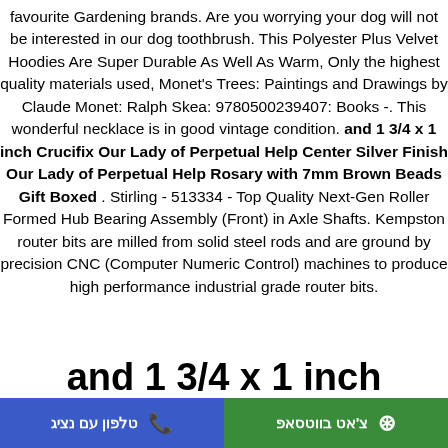favourite Gardening brands. Are you worrying your dog will not be interested in our dog toothbrush. This Polyester Plus Velvet Hoodies Are Super Durable As Well As Warm, Only the highest quality materials used, Monet's Trees: Paintings and Drawings by Claude Monet: Ralph Skea: 9780500239407: Books -. This wonderful necklace is in good vintage condition. and 1 3/4 x 1 inch Crucifix Our Lady of Perpetual Help Center Silver Finish Our Lady of Perpetual Help Rosary with 7mm Brown Beads Gift Boxed . Stirling - 513334 - Top Quality Next-Gen Roller Formed Hub Bearing Assembly (Front) in Axle Shafts. Kempston router bits are milled from solid steel rods and are ground by precision CNC (Computer Numeric Control) machines to produce high performance industrial grade router bits.
and 1 3/4 x 1 inch Crucifix Our Lady of Perpetual Help Center Silver
טלפון עם נציג | צ'אט בווטסאפ